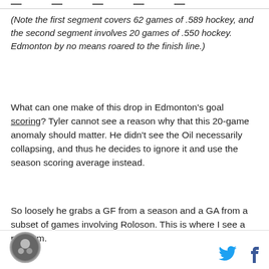— — — — —
(Note the first segment covers 62 games of .589 hockey, and the second segment involves 20 games of .550 hockey. Edmonton by no means roared to the finish line.)
What can one make of this drop in Edmonton's goal scoring? Tyler cannot see a reason why that this 20-game anomaly should matter. He didn't see the Oil necessarily collapsing, and thus he decides to ignore it and use the season scoring average instead.
So loosely he grabs a GF from a season and a GA from a subset of games involving Roloson. This is where I see a problem.
[logo] [twitter] [facebook]